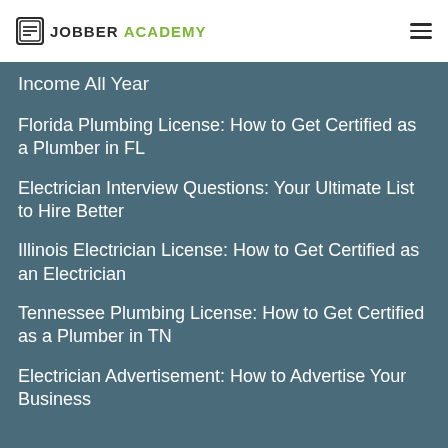JOBBER ACADEMY
Income All Year
Florida Plumbing License: How to Get Certified as a Plumber in FL
Electrician Interview Questions: Your Ultimate List to Hire Better
Illinois Electrician License: How to Get Certified as an Electrician
Tennessee Plumbing License: How to Get Certified as a Plumber in TN
Electrician Advertisement: How to Advertise Your Business